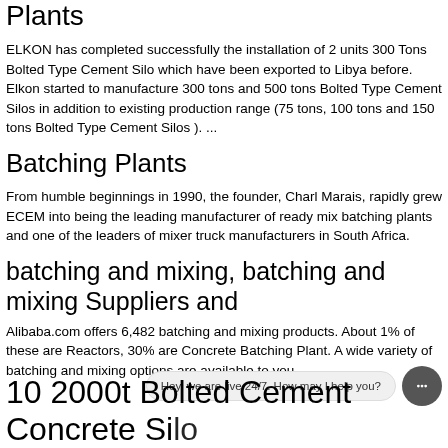Plants
ELKON has completed successfully the installation of 2 units 300 Tons Bolted Type Cement Silo which have been exported to Libya before. Elkon started to manufacture 300 tons and 500 tons Bolted Type Cement Silos in addition to existing production range (75 tons, 100 tons and 150 tons Bolted Type Cement Silos ). ...
Batching Plants
From humble beginnings in 1990, the founder, Charl Marais, rapidly grew ECEM into being the leading manufacturer of ready mix batching plants and one of the leaders of mixer truck manufacturers in South Africa.
batching and mixing, batching and mixing Suppliers and
Alibaba.com offers 6,482 batching and mixing products. About 1% of these are Reactors, 30% are Concrete Batching Plant. A wide variety of batching and mixing options are available to you,
10 2000t Bolted Cement Concrete Silo